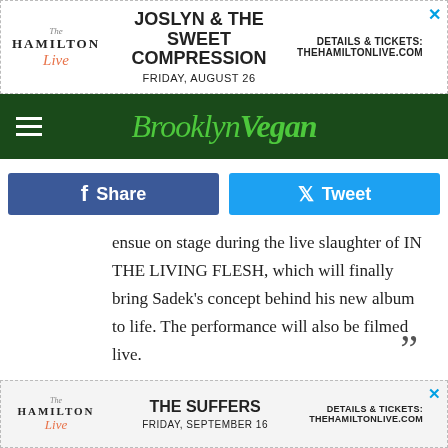[Figure (infographic): Hamilton Live advertisement: Joslyn & The Sweet Compression, Friday, August 26. Details & Tickets: thehamiltonlive.com]
[Figure (logo): Brooklyn Vegan logo with hamburger menu on dark green navigation bar]
[Figure (infographic): Facebook Share button and Twitter Tweet button]
ensue on stage during the live slaughter of IN THE LIVING FLESH, which will finally bring Sadek's concept behind his new album to life. The performance will also be filmed live.
Nader Sadek will also be meeting and greeting fans at Forbidden Planet (840 Broadway) on 11/17 at 7:30.
Check out some Nader Sadek videos with more info below,
[Figure (infographic): Hamilton Live advertisement: The Suffers, Friday, September 16. Details & Tickets: thehamiltonlive.com]